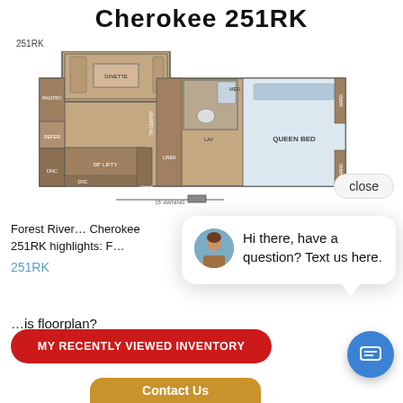Cherokee 251RK
[Figure (engineering-diagram): RV floorplan for Cherokee 251RK showing top-down layout with DINETTE, PANTRY, REFER, DNC areas on left, TRI CENTER, LINEN, LAV sections in middle, QUEEN BED and WARDROBE areas on right, 15' AWNING label at bottom, and 58" LIFTY sofa area]
Forest River Cherokee 251RK highlights: Forest River Cherokee 251RK
251RK
[Figure (screenshot): Chat popup with female avatar photo and text: Hi there, have a question? Text us here.]
MY RECENTLY VIEWED INVENTORY
is floorplan?
Contact Us